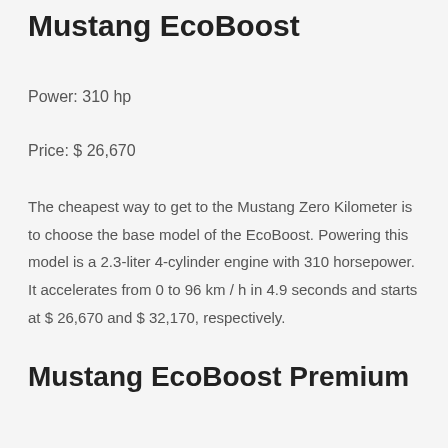Mustang EcoBoost
Power: 310 hp
Price: $ 26,670
The cheapest way to get to the Mustang Zero Kilometer is to choose the base model of the EcoBoost. Powering this model is a 2.3-liter 4-cylinder engine with 310 horsepower. It accelerates from 0 to 96 km / h in 4.9 seconds and starts at $ 26,670 and $ 32,170, respectively.
Mustang EcoBoost Premium